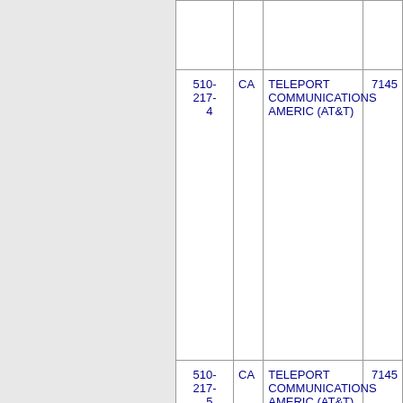| Phone | State | Company | Number |
| --- | --- | --- | --- |
| 510-217-4 | CA | TELEPORT COMMUNICATIONS AMERIC (AT&T) | 7145 |
| 510-217-5 | CA | TELEPORT COMMUNICATIONS AMERIC (AT&T) | 7145 |